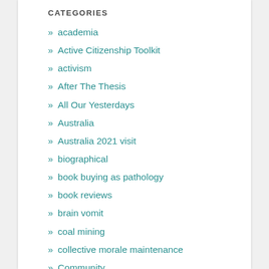CATEGORIES
academia
Active Citizenship Toolkit
activism
After The Thesis
All Our Yesterdays
Australia
Australia 2021 visit
biographical
book buying as pathology
book reviews
brain vomit
coal mining
collective morale maintenance
Community